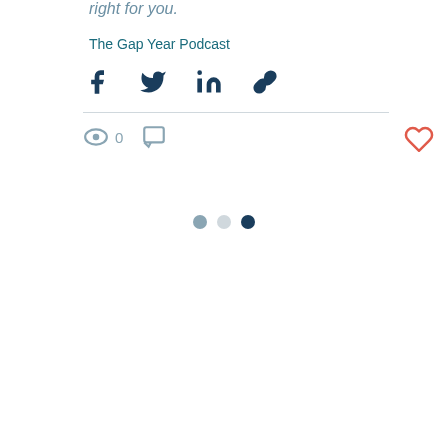right for you.
The Gap Year Podcast
[Figure (other): Social share icons: Facebook, Twitter, LinkedIn, Link]
[Figure (other): Engagement row: eye icon with 0 views, comment icon, heart icon]
[Figure (other): Pagination dots: grey, light grey, dark teal]